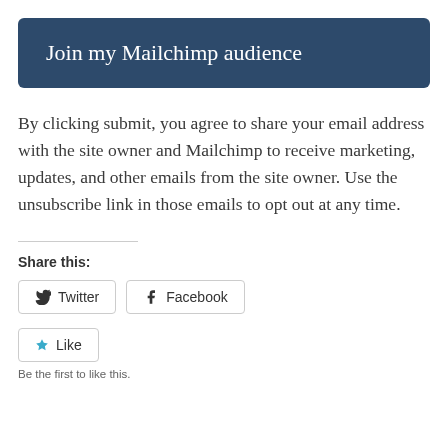Join my Mailchimp audience
By clicking submit, you agree to share your email address with the site owner and Mailchimp to receive marketing, updates, and other emails from the site owner. Use the unsubscribe link in those emails to opt out at any time.
Share this:
Twitter
Facebook
Like
Be the first to like this.